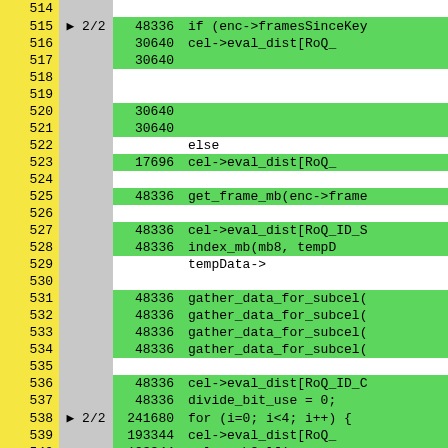| Line | Marker | Count | Code |
| --- | --- | --- | --- |
| 514 |  |  |  |
| 515 | ▶ 2/2 | 48336 | if (enc->framesSinceKey |
| 516 |  | 30640 | cel->eval_dist[RoQ_ |
| 517 |  | 30640 |  |
| 518 |  |  |  |
| 519 |  |  |  |
| 520 |  | 30640 |  |
| 521 |  | 30640 |  |
| 522 |  |  | else |
| 523 |  | 17696 | cel->eval_dist[RoQ_ |
| 524 |  |  |  |
| 525 |  | 48336 | get_frame_mb(enc->frame |
| 526 |  |  |  |
| 527 |  | 48336 | cel->eval_dist[RoQ_ID_S |
| 528 |  | 48336 | index_mb(mb8, tempD |
| 529 |  |  | tempData-> |
| 530 |  |  |  |
| 531 |  | 48336 | gather_data_for_subcel( |
| 532 |  | 48336 | gather_data_for_subcel( |
| 533 |  | 48336 | gather_data_for_subcel( |
| 534 |  | 48336 | gather_data_for_subcel( |
| 535 |  |  |  |
| 536 |  | 48336 | cel->eval_dist[RoQ_ID_C |
| 537 |  | 48336 | divide_bit_use = 0; |
| 538 | ▶ 2/2 | 241680 | for (i=0; i<4; i++) { |
| 539 |  | 193344 | cel->eval_dist[RoQ_ |
| 540 |  | 193344 | cel->subCel[i |